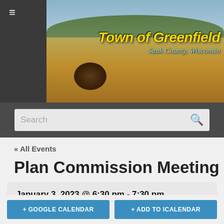[Figure (photo): Town of Greenfield, Sauk County, Wisconsin banner with a rural landscape featuring a hay bale in a field, green hills and trees in the background, and yellow and blue title text overlay.]
Search
« All Events
Plan Commission Meeting
January 3, 2023 @ 6:30 pm - 7:30 pm
Recurring Event (See all)
+ GOOGLE CALENDAR
+ ADD TO ICALENDAR